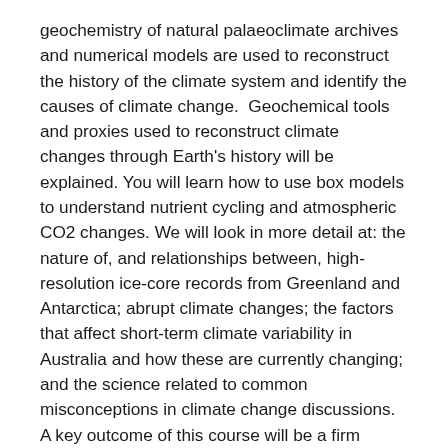geochemistry of natural palaeoclimate archives and numerical models are used to reconstruct the history of the climate system and identify the causes of climate change.  Geochemical tools and proxies used to reconstruct climate changes through Earth's history will be explained. You will learn how to use box models to understand nutrient cycling and atmospheric CO2 changes. We will look in more detail at: the nature of, and relationships between, high-resolution ice-core records from Greenland and Antarctica; abrupt climate changes; the factors that affect short-term climate variability in Australia and how these are currently changing; and the science related to common misconceptions in climate change discussions. A key outcome of this course will be a firm understanding of the physical, chemical, and biological processes that control Earth's climate, and how they may interact to modulate climate change in the future.
In addition to research-based lectures and practicals, journal articles of greater conceptual difficulty will be